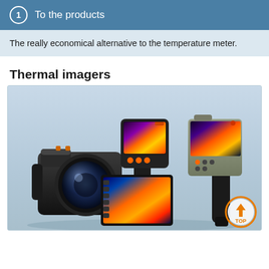To the products
The really economical alternative to the temperature meter.
Thermal imagers
[Figure (photo): Three thermal imaging cameras (thermal imagers) displayed against a light blue gradient background. Left: a large black camera body with a large lens. Center: a handheld thermal imager with a screen showing a colorful infrared image of power lines. Right: a pistol-grip style thermal camera with a display showing an infrared building image. A circular orange 'TOP' navigation button is in the bottom right corner.]